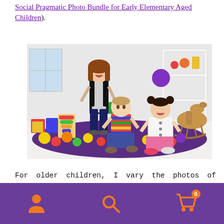Social Pragmatic Photo Bundle for Early Elementary Aged Children).
[Figure (photo): Three young children playing together in a bright playroom with colorful balls, toys, and a wooden rocking horse. One girl stands laughing, one boy sits on the floor, and one girl sits to the right, all surrounded by colorful balls on a purple rug.]
For older children, I vary the photos of different aged individuals significantly. I also introduce relevant
Navigation bar with user icon, search icon, and shopping cart icon (0 items)